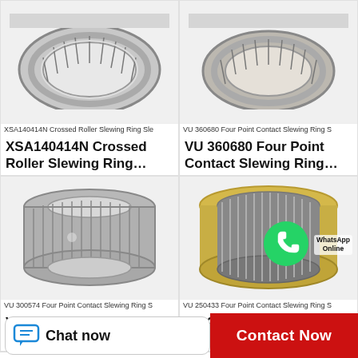[Figure (photo): XSA140414N Crossed Roller Slewing Ring bearing product image (top-left, partially visible at top)]
XSA140414N Crossed Roller Slewing Ring Sle
XSA140414N Crossed Roller Slewing Ring...
[Figure (photo): VU 360680 Four Point Contact Slewing Ring bearing product image (top-right, partially visible at top)]
VU 360680 Four Point Contact Slewing Ring S
VU 360680 Four Point Contact Slewing Ring...
[Figure (photo): VU 300574 Four Point Contact Slewing Ring needle roller bearing product image (bottom-left)]
VU 300574 Four Point Contact Slewing Ring S
VU 300574 Four Point Contact Slewing Ring...
[Figure (photo): VU 250433 Four Point Contact Slewing Ring bearing product image with WhatsApp Online overlay (bottom-right)]
VU 250433 Four Point Contact Slewing Ring S
VU 250433 Four Point Contact Slewing Ring...
Chat now
Contact Now